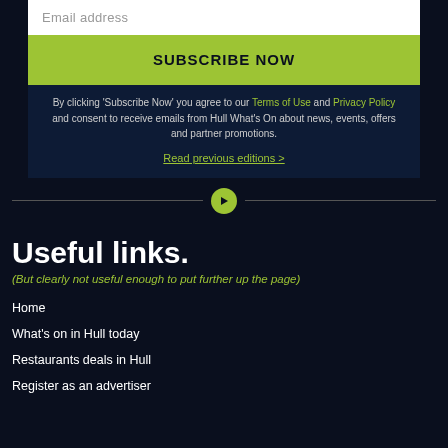Email address
SUBSCRIBE NOW
By clicking 'Subscribe Now' you agree to our Terms of Use and Privacy Policy and consent to receive emails from Hull What's On about news, events, offers and partner promotions.
Read previous editions >
Useful links.
(But clearly not useful enough to put further up the page)
Home
What's on in Hull today
Restaurants deals in Hull
Register as an advertiser